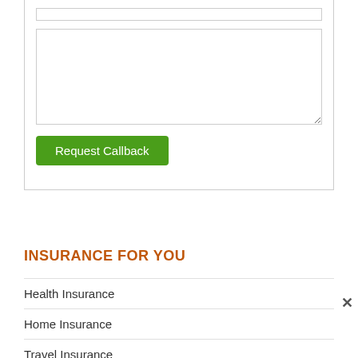[Figure (screenshot): Form area with a text input at top, a large textarea below it, and a green 'Request Callback' button]
INSURANCE FOR YOU
Health Insurance
Home Insurance
Travel Insurance
Car Insurance